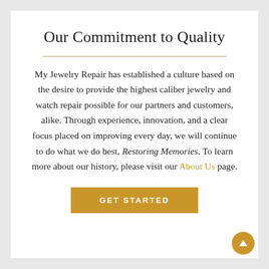Our Commitment to Quality
My Jewelry Repair has established a culture based on the desire to provide the highest caliber jewelry and watch repair possible for our partners and customers, alike. Through experience, innovation, and a clear focus placed on improving every day, we will continue to do what we do best, Restoring Memories. To learn more about our history, please visit our About Us page.
[Figure (other): Gold GET STARTED button]
[Figure (other): Gold circular scroll-to-top arrow button in bottom right corner]